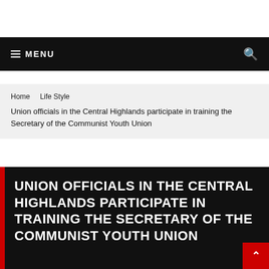≡ MENU
Home   Life Style
Union officials in the Central Highlands participate in training the Secretary of the Communist Youth Union
UNION OFFICIALS IN THE CENTRAL HIGHLANDS PARTICIPATE IN TRAINING THE SECRETARY OF THE COMMUNIST YOUTH UNION